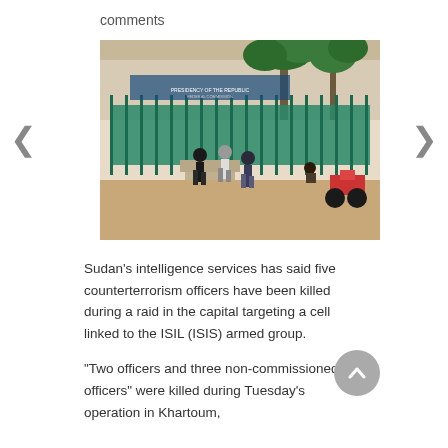comments
[Figure (photo): Outdoor scene in front of a government building with green metal fence and palm trees. Several people are walking and sitting along a sidewalk; a red motorcycle is parked on the right. The building facade shows Arabic signage.]
Sudan’s intelligence services has said five counterterrorism officers have been killed during a raid in the capital targeting a cell linked to the ISIL (ISIS) armed group.
“Two officers and three non-commissioned officers” were killed during Tuesday’s operation in Khartoum,